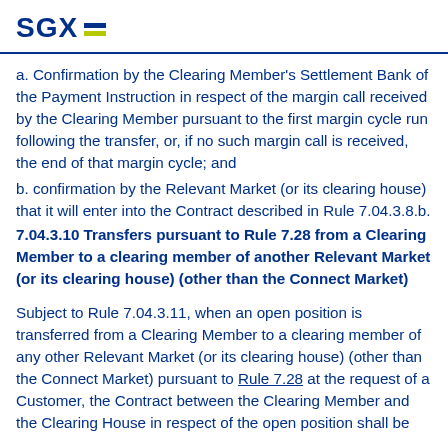SGX
a. Confirmation by the Clearing Member's Settlement Bank of the Payment Instruction in respect of the margin call received by the Clearing Member pursuant to the first margin cycle run following the transfer, or, if no such margin call is received, the end of that margin cycle; and
b. confirmation by the Relevant Market (or its clearing house) that it will enter into the Contract described in Rule 7.04.3.8.b.
7.04.3.10 Transfers pursuant to Rule 7.28 from a Clearing Member to a clearing member of another Relevant Market (or its clearing house) (other than the Connect Market)
Subject to Rule 7.04.3.11, when an open position is transferred from a Clearing Member to a clearing member of any other Relevant Market (or its clearing house) (other than the Connect Market) pursuant to Rule 7.28 at the request of a Customer, the Contract between the Clearing Member and the Clearing House in respect of the open position shall be